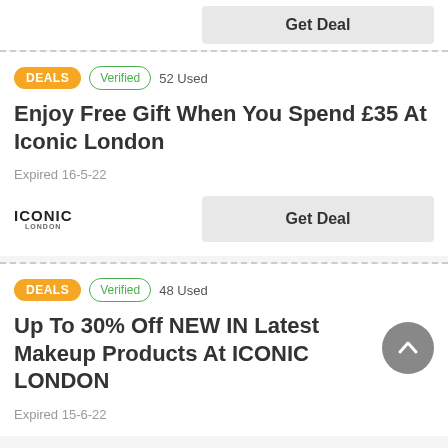Get Deal
DEALS   Verified   52 Used
Enjoy Free Gift When You Spend £35 At Iconic London
Expired 16-5-22
Get Deal
DEALS   Verified   48 Used
Up To 30% Off NEW IN Latest Makeup Products At ICONIC LONDON
Expired 15-6-22